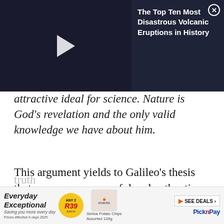[Figure (screenshot): Video player thumbnail with dark background and white play button triangle]
The Top Ten Most Disastrous Volcanic Eruptions in History
attractive ideal for science. Nature is God's revelation and the only valid knowledge we have about him.
This argument yields to Galileo's thesis that, apropos a successful and authentic scientific knowledge, there is no essential difference between God and man: for Galileo, the concept of truth
[Figure (screenshot): Pick n Pay advertisement banner with Everyday Exceptional branding and R39 deal circle]